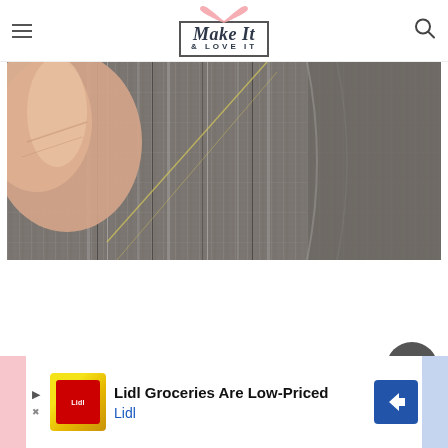Make It & Love It — navigation header with hamburger menu and search icon
[Figure (photo): Close-up photo of a hand holding striped gray and white fabric/textile, showing the weave texture]
[Figure (infographic): Advertisement banner for Lidl Groceries with text 'Lidl Groceries Are Low-Priced' and 'Lidl' subtext, with navigation arrows and road sign icon]